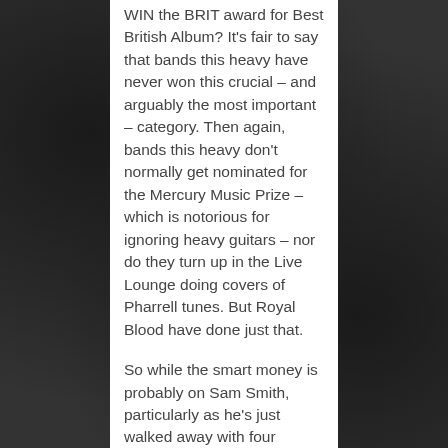WIN the BRIT award for Best British Album? It's fair to say that bands this heavy have never won this crucial – and arguably the most important – category. Then again, bands this heavy don't normally get nominated for the Mercury Music Prize – which is notorious for ignoring heavy guitars – nor do they turn up in the Live Lounge doing covers of Pharrell tunes. But Royal Blood have done just that.
So while the smart money is probably on Sam Smith, particularly as he's just walked away with four Grammys – including their equivalent award, Record of the Year –